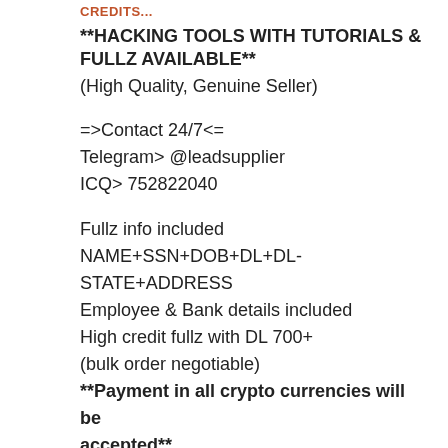CREDITS...
**HACKING TOOLS WITH TUTORIALS & FULLZ AVAILABLE**
(High Quality, Genuine Seller)
=>Contact 24/7<=
Telegram> @leadsupplier
ICQ> 752822040
Fullz info included
NAME+SSN+DOB+DL+DL-STATE+ADDRESS
Employee & Bank details included
High credit fullz with DL 700+
(bulk order negotiable)
**Payment in all crypto currencies will be accepted**
**...